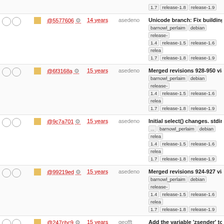| check1 | check2 | color | hash | age | author | message |
| --- | --- | --- | --- | --- | --- | --- |
| ○ | ○ | ■ | @5577606 | 14 years | asedeno | Unicode branch: Fix building without zephyr. barnowl_perlaim debian release-1.4 release-1.5 release-1.6 release-1.7 release-1.8 release-1.9 |
| ○ | ○ | ■ | @6f3168a | 15 years | asedeno | Merged revisions 928-950 via svnmerge from ... barnowl_perlaim debian release-1.4 release-1.5 release-1.6 release-1.7 release-1.8 release-1.9 |
| ○ | ○ | ■ | @9c7a701 | 15 years | asedeno | Initial select() changes. stdin, zephyr, jabber, and irc are chec... barnowl_perlaim debian release-1.4 release-1.5 release-1.6 release-1.7 release-1.8 release-1.9 |
| ○ | ○ | ■ | @99219ed | 15 years | asedeno | Merged revisions 924-927 via svnmerge from ... barnowl_perlaim debian release-1.4 release-1.5 release-1.6 release-1.7 release-1.8 release-1.9 |
| ○ | ○ | ■ | @247cbc9 | 15 years | geofft | Add the variable 'zsender' to customize the outgoing Zephyr username. barnowl_perlaim debian release-1.4 release-1.5 release-1.6 release-1.7 release-1.8 release-1.9 |
| ○ | ○ | ■ | @625802a | 15 years | asedeno | Merged revisions 882-908 via svnmerge from ... barnowl_perlaim debian release-1.4 release-1.5 release-1.6 release-1.7 release-1.8 release-1.9 |
| ○ | ○ | ■ |  |  |  | Fix the error messages sending |